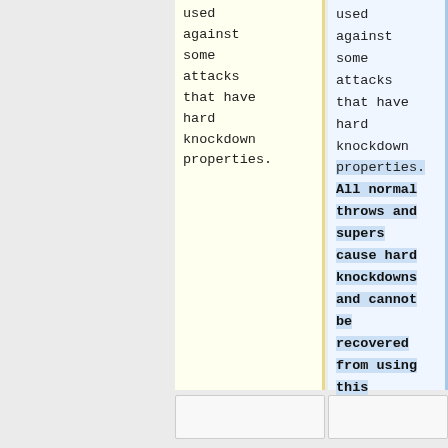used against some attacks that have hard knockdown properties.
used against some attacks that have hard knockdown properties. All normal throws and supers cause hard knockdowns and cannot be recovered from using this technique.